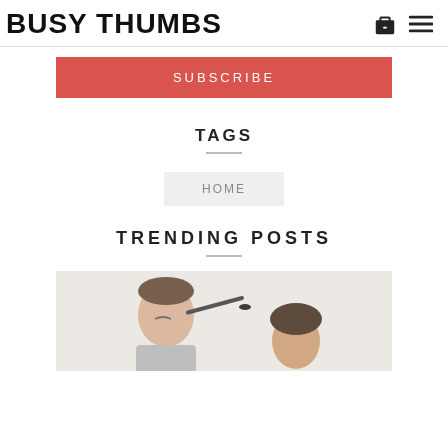BUSY THUMBS
SUBSCRIBE
TAGS
HOME
TRENDING POSTS
[Figure (photo): A man having eye makeup applied by a woman, photo in a bright room.]